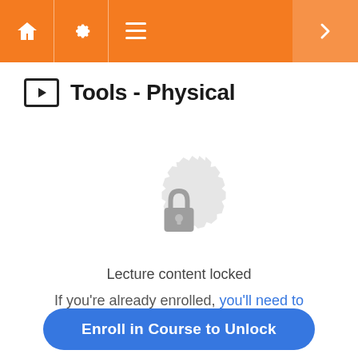Tools - Physical (navigation header with home, settings, menu, and next icons)
Tools - Physical
[Figure (illustration): A circular badge-like icon with a padlock in the center, rendered in light gray, indicating locked content.]
Lecture content locked
If you're already enrolled, you'll need to login.
Enroll in Course to Unlock